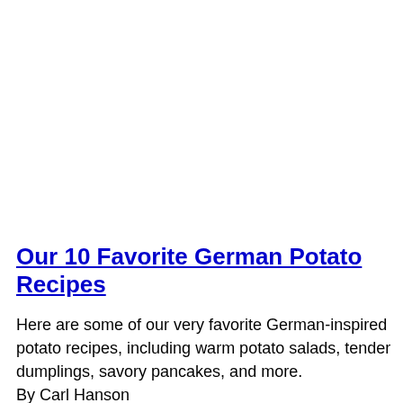Our 10 Favorite German Potato Recipes
Here are some of our very favorite German-inspired potato recipes, including warm potato salads, tender dumplings, savory pancakes, and more.
By Carl Hanson
Oven-Roasted Greek Potatoes